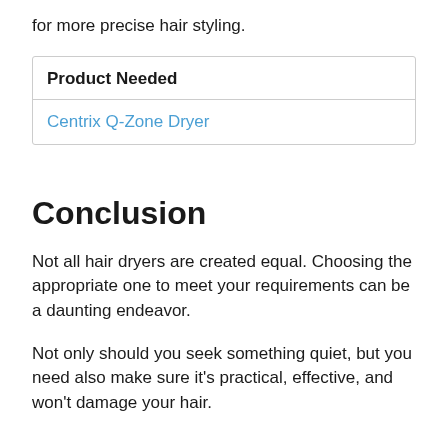for more precise hair styling.
| Product Needed |
| --- |
| Centrix Q-Zone Dryer |
Conclusion
Not all hair dryers are created equal. Choosing the appropriate one to meet your requirements can be a daunting endeavor.
Not only should you seek something quiet, but you need also make sure it's practical, effective, and won't damage your hair.